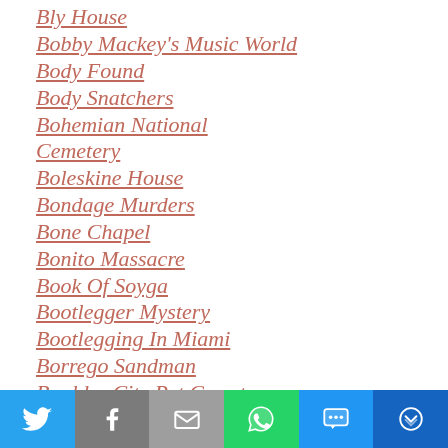Bly House
Bobby Mackey's Music World
Body Found
Body Snatchers
Bohemian National Cemetery
Boleskine House
Bondage Murders
Bone Chapel
Bonito Massacre
Book Of Soyga
Bootlegger Mystery
Bootlegging In Miami
Borrego Sandman
Boulder City Pet Cemetery
Bounty Hunter
Bowery King
[Figure (infographic): Social share buttons bar: Twitter (blue), Facebook (gray), Email (gray), WhatsApp (green), SMS (blue), More (dark blue)]